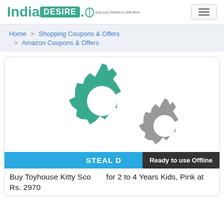India DESIRE — navigation header with hamburger menu
Home > Shopping Coupons & Offers > Amazon Coupons & Offers
[Figure (illustration): Two interlocking gear icons: one large teal/green gear and one smaller gray gear, representing processing or deals.]
STEAL D...
Ready to use Offline
Buy Toyhouse Kitty Sco... for 2 to 4 Years Kids, Pink at Rs. 2970